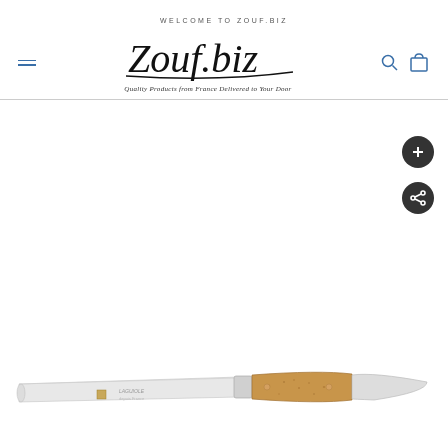WELCOME TO ZOUF.BIZ
[Figure (logo): Zouf.biz cursive logo with tagline 'Quality Products from France Delivered to Your Door']
[Figure (photo): Laguiole-style butter spreader knife with wooden handle and stainless steel blade, featuring a small square stopper near the blade.]